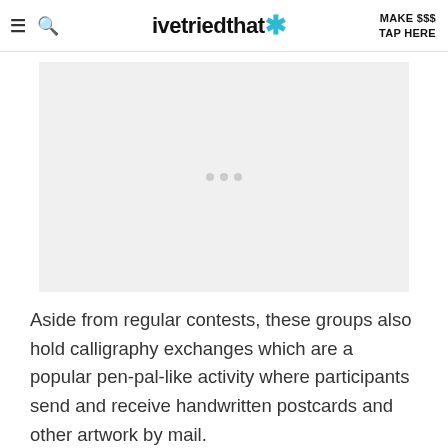ivetriedthat* | MAKE $$$ TAP HERE
[Figure (other): Advertisement placeholder with three grey dots]
Aside from regular contests, these groups also hold calligraphy exchanges which are a popular pen-pal-like activity where participants send and receive handwritten postcards and other artwork by mail.